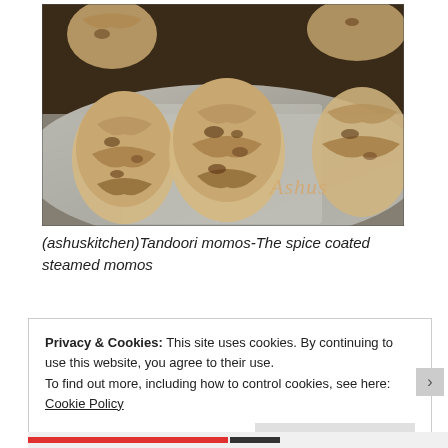[Figure (photo): Close-up photo of tandoori momos (spice coated steamed dumplings) on foil. The momos are golden-brown and arranged on silver foil. A watermark in cursive reads 'Ashus' in the bottom right of the image.]
(ashuskitchen)Tandoori momos-The spice coated steamed momos
Privacy & Cookies: This site uses cookies. By continuing to use this website, you agree to their use. To find out more, including how to control cookies, see here: Cookie Policy